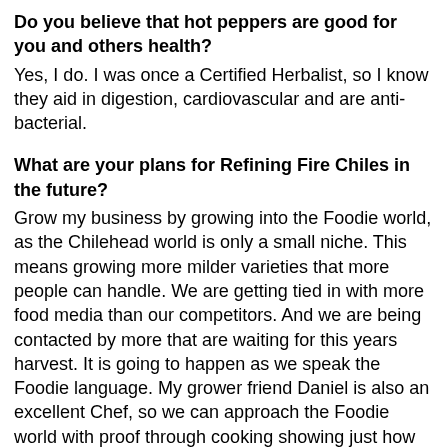Do you believe that hot peppers are good for you and others health?
Yes, I do. I was once a Certified Herbalist, so I know they aid in digestion, cardiovascular and are anti-bacterial.
What are your plans for Refining Fire Chiles in the future?
Grow my business by growing into the Foodie world, as the Chilehead world is only a small niche. This means growing more milder varieties that more people can handle. We are getting tied in with more food media than our competitors. And we are being contacted by more that are waiting for this years harvest. It is going to happen as we speak the Foodie language. My grower friend Daniel is also an excellent Chef, so we can approach the Foodie world with proof through cooking showing just how good our chiles are. Nobody else is doing this approach. We like being part of scientific studies so we can know more about the peppers we sell. In 2010, we worked with a Capsaicin scientist and in 2011, the Chile Pepper Institute. This year, a University on the West Coast is going to look at market and food applications as well as forming new varieties.